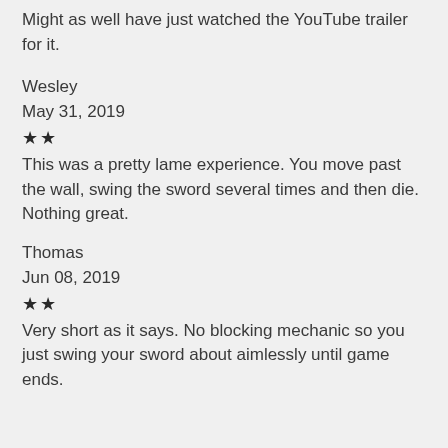Might as well have just watched the YouTube trailer for it.
Wesley
May 31, 2019
★★
This was a pretty lame experience. You move past the wall, swing the sword several times and then die. Nothing great.
Thomas
Jun 08, 2019
★★
Very short as it says. No blocking mechanic so you just swing your sword about aimlessly until game ends.